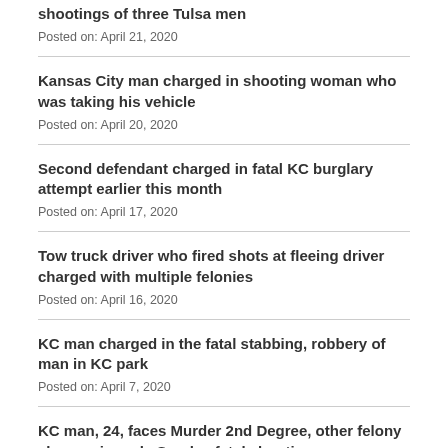shootings of three Tulsa men
Posted on: April 21, 2020
Kansas City man charged in shooting woman who was taking his vehicle
Posted on: April 20, 2020
Second defendant charged in fatal KC burglary attempt earlier this month
Posted on: April 17, 2020
Tow truck driver who fired shots at fleeing driver charged with multiple felonies
Posted on: April 16, 2020
KC man charged in the fatal stabbing, robbery of man in KC park
Posted on: April 7, 2020
KC man, 24, faces Murder 2nd Degree, other felony charges in early Sunday fatal shooting